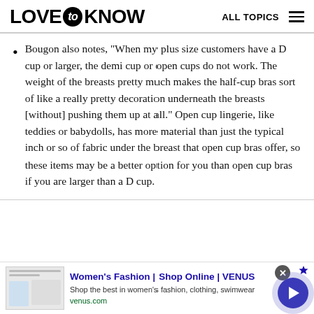LOVE to KNOW   ALL TOPICS
Bougon also notes, "When my plus size customers have a D cup or larger, the demi cup or open cups do not work. The weight of the breasts pretty much makes the half-cup bras sort of like a really pretty decoration underneath the breasts [without] pushing them up at all." Open cup lingerie, like teddies or babydolls, has more material than just the typical inch or so of fabric under the breast that open cup bras offer, so these items may be a better option for you than open cup bras if you are larger than a D cup.
[Figure (screenshot): Advertisement banner for Women's Fashion | Shop Online | VENUS showing website screenshot, ad text, and a circular play button]